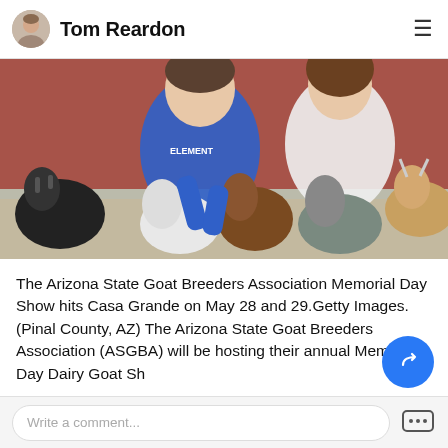Tom Reardon
[Figure (photo): Two young people smiling and petting/feeding several goats of various colors (black, white, brown, gray) in an outdoor farm setting with a red barn in the background.]
The Arizona State Goat Breeders Association Memorial Day Show hits Casa Grande on May 28 and 29.Getty Images. (Pinal County, AZ) The Arizona State Goat Breeders Association (ASGBA) will be hosting their annual Memorial Day Dairy Goat Sh...